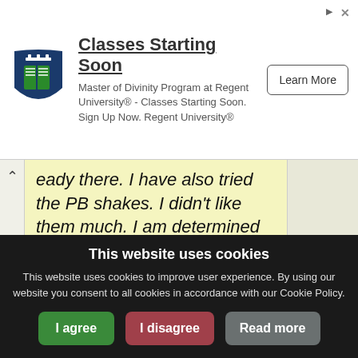[Figure (other): Advertisement banner for Regent University Master of Divinity Program with logo, title 'Classes Starting Soon', body text, and 'Learn More' button]
eady there. I have also tried the PB shakes. I didn't like them much. I am determined to feel better by the time school begins in August. I have read many good things about Oxy-Powder at curezone and I am thinking about giving it a try. Maybe if everything gets turned to a liquid I won't be poking around in ... read more
This website uses cookies
This website uses cookies to improve user experience. By using our website you consent to all cookies in accordance with our Cookie Policy.